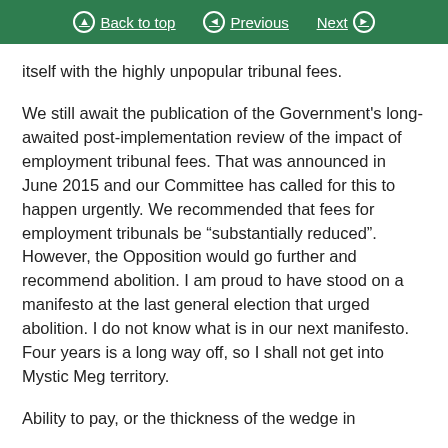Back to top | Previous | Next
itself with the highly unpopular tribunal fees.
We still await the publication of the Government's long-awaited post-implementation review of the impact of employment tribunal fees. That was announced in June 2015 and our Committee has called for this to happen urgently. We recommended that fees for employment tribunals be “substantially reduced”. However, the Opposition would go further and recommend abolition. I am proud to have stood on a manifesto at the last general election that urged abolition. I do not know what is in our next manifesto. Four years is a long way off, so I shall not get into Mystic Meg territory.
Ability to pay, or the thickness of the wedge in